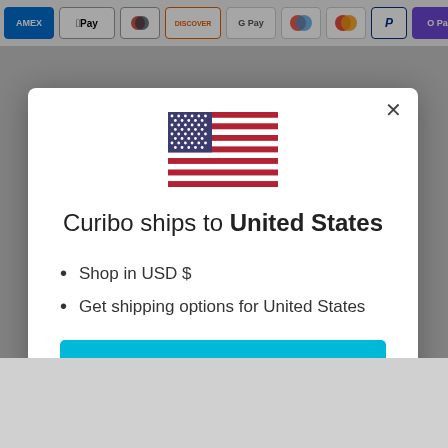[Figure (screenshot): Payment method icons bar showing AMEX, Apple Pay, Diners Club, Discover, Google Pay, Maestro, Mastercard, PayPal, and O Pay]
[Figure (illustration): US flag SVG illustration]
Curibo ships to United States
Shop in USD $
Get shipping options for United States
Shop now
Change shipping country